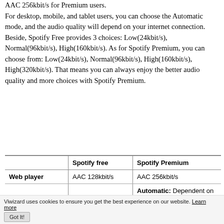AAC 256kbit/s for Premium users.
For desktop, mobile, and tablet users, you can choose the Automatic mode, and the audio quality will depend on your internet connection. Beside, Spotify Free provides 3 choices: Low(24kbit/s), Normal(96kbit/s), High(160kbit/s). As for Spotify Premium, you can choose from: Low(24kbit/s), Normal(96kbit/s), High(160kbit/s), High(320kbit/s). That means you can always enjoy the better audio quality and more choices with Spotify Premium.
|  | Spotify free | Spotify Premium |
| --- | --- | --- |
| Web player | AAC 128kbit/s | AAC 256kbit/s |
|  |  | Automatic: Dependent on |
Viwizard uses cookies to ensure you get the best experience on our website. Learn more Got It!